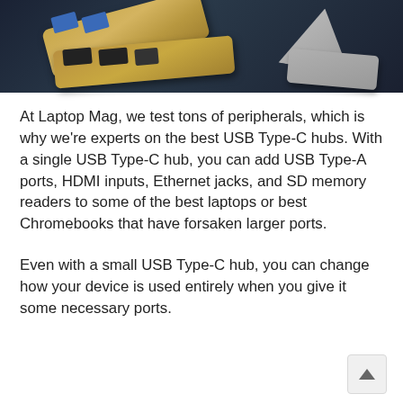[Figure (photo): Close-up photo of USB Type-C hubs and adapters on a dark reflective surface. A gold-colored USB hub with blue USB-A ports is visible, along with a gray triangular adapter and additional hub dongles.]
At Laptop Mag, we test tons of peripherals, which is why we're experts on the best USB Type-C hubs. With a single USB Type-C hub, you can add USB Type-A ports, HDMI inputs, Ethernet jacks, and SD memory readers to some of the best laptops or best Chromebooks that have forsaken larger ports.
Even with a small USB Type-C hub, you can change how your device is used entirely when you give it some necessary ports.